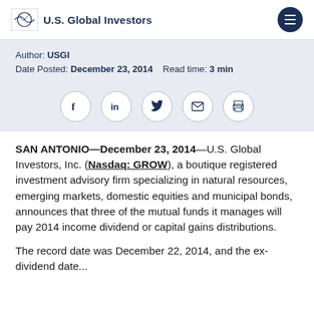U.S. Global Investors
Author: USGI
Date Posted: December 23, 2014   Read time: 3 min
[Figure (infographic): Social sharing icons: Facebook, LinkedIn, Twitter, Email, Print]
SAN ANTONIO—December 23, 2014—U.S. Global Investors, Inc. (Nasdaq: GROW), a boutique registered investment advisory firm specializing in natural resources, emerging markets, domestic equities and municipal bonds, announces that three of the mutual funds it manages will pay 2014 income dividend or capital gains distributions.
The record date was December 22, 2014, and the ex-dividend date...